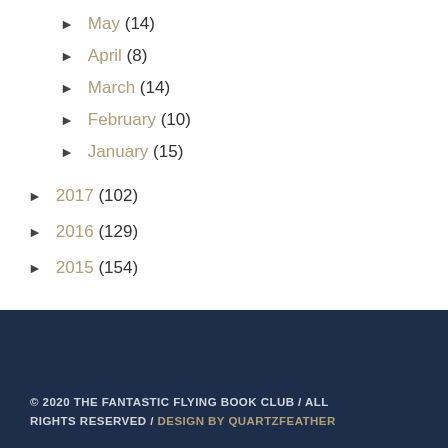► May (14)
► April (8)
► March (14)
► February (10)
► January (15)
► 2017 (102)
► 2016 (129)
► 2015 (154)
© 2020 THE FANTASTIC FLYING BOOK CLUB / ALL RIGHTS RESERVED / DESIGN BY QUARTZFEATHER